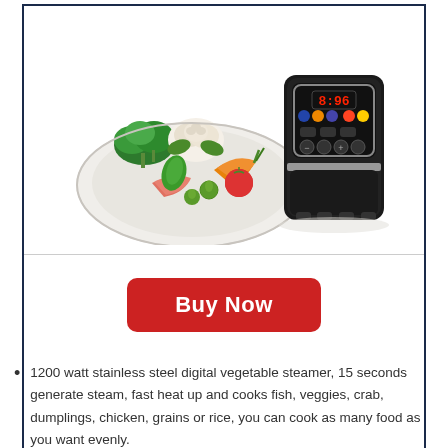[Figure (photo): Black digital electric food steamer with LED display panel and control buttons, shown next to a white plate with assorted fresh vegetables including broccoli, cauliflower, tomatoes, carrots, and greens.]
Buy Now
1200 watt stainless steel digital vegetable steamer, 15 seconds generate steam, fast heat up and cooks fish, veggies, crab, dumplings, chicken, grains or rice, you can cook as many food as you want evenly.
Versatile electric steamer: It can as a hot dog steamer, bun steamer, seafood steamer, tortilla steamer, veggie steamer